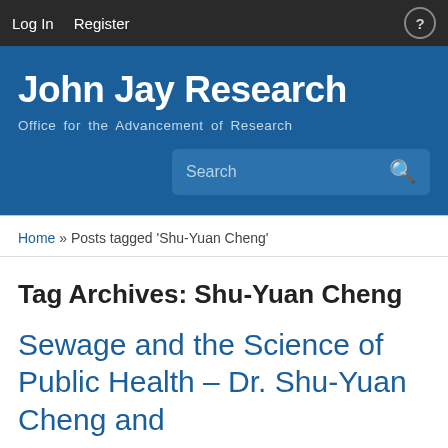Log In   Register
John Jay Research
Office for the Advancement of Research
Search
Home » Posts tagged 'Shu-Yuan Cheng'
Tag Archives: Shu-Yuan Cheng
Sewage and the Science of Public Health – Dr. Shu-Yuan Cheng and